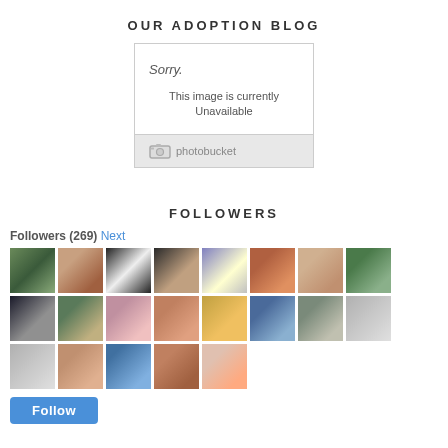OUR ADOPTION BLOG
[Figure (screenshot): Photobucket image unavailable placeholder showing 'Sorry. This image is currently Unavailable' with Photobucket logo]
FOLLOWERS
Followers (269) Next
[Figure (photo): Grid of 21 follower profile avatar thumbnails, 3 rows]
Follow